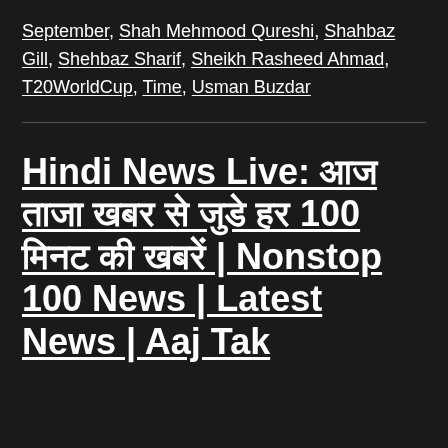September, Shah Mehmood Qureshi, Shahbaz Gill, Shehbaz Sharif, Sheikh Rasheed Ahmad, T20WorldCup, Time, Usman Buzdar
Hindi News Live: आज की ताजा खबर से जुड़े हर 100 मिनट की खबरें | Nonstop 100 News | Latest News | Aaj Tak